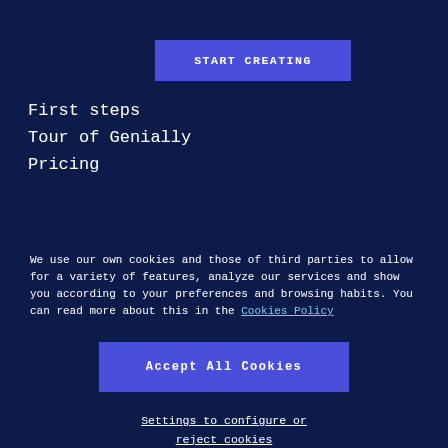[Figure (other): START CREATING button in blue/purple color]
First steps
Tour of Genially
Pricing
We use our own cookies and those of third parties to allow for a variety of features, analyze our services and show you according to your preferences and browsing habits. You can read more about this in the Cookies Policy
[Figure (other): Accept All Cookies button in blue/purple color]
Settings to configure or reject cookies